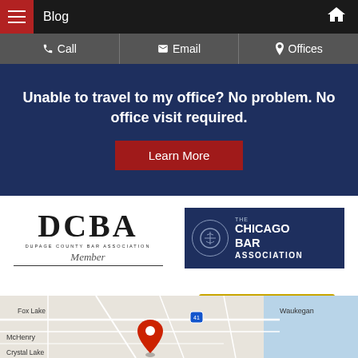Blog
Call | Email | Offices
Unable to travel to my office? No problem. No office visit required.
Learn More
[Figure (logo): DCBA DuPage County Bar Association Member logo]
[Figure (logo): The Chicago Bar Association logo]
[Figure (logo): NOSSCR National Organization of Social Security Claimants Representatives logo]
[Figure (logo): Rated by Super Lawyers badge]
[Figure (map): Map showing northern Illinois area including Fox Lake, Waukegan, McHenry, Crystal Lake with a red location pin marker]